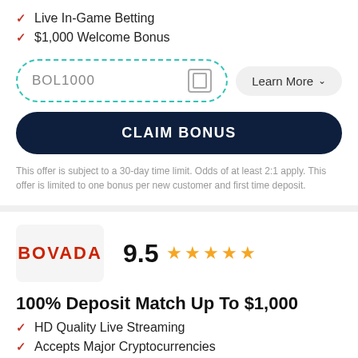Live In-Game Betting
$1,000 Welcome Bonus
BOL1000
Learn More
CLAIM BONUS
This offer is subject to a 30-day time limit. Odds of at least 2:1 apply. This offer is limited to one bonus per new customer and first time deposit.
[Figure (logo): BOVADA logo in red text]
9.5
100% Deposit Match Up To $1,000
HD Quality Live Streaming
Accepts Major Cryptocurrencies